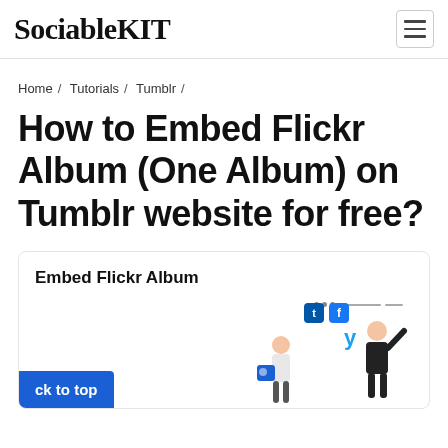SociableKIT
Home / Tutorials / Tumblr /
How to Embed Flickr Album (One Album) on Tumblr website for free?
[Figure (illustration): Embed Flickr Album illustration showing a browser mockup with social media icons (Twitter, Facebook, Tumblr) and two figures interacting with social media elements]
ck to top